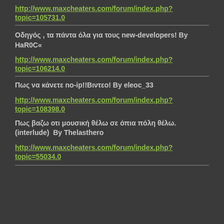http://www.maxcheaters.com/forum/index.php?topic=105731.0
Οδηγός , τα πάντα όλα για τους new-developers! By HaR0C«
http://www.maxcheaters.com/forum/index.php?topic=106214.0
Πως να κάνετε no-ip!!Βιντεο! By eleoc_33
http://www.maxcheaters.com/forum/index.php?topic=108398.0
Πως βαζω οτι μουσική θέλω σε όπια πόλη θέλω. (interlude)  By Thelasthero
http://www.maxcheaters.com/forum/index.php?topic=55034.0